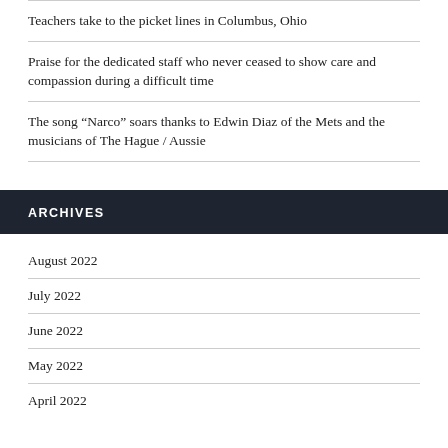Teachers take to the picket lines in Columbus, Ohio
Praise for the dedicated staff who never ceased to show care and compassion during a difficult time
The song “Narco” soars thanks to Edwin Diaz of the Mets and the musicians of The Hague / Aussie
ARCHIVES
August 2022
July 2022
June 2022
May 2022
April 2022